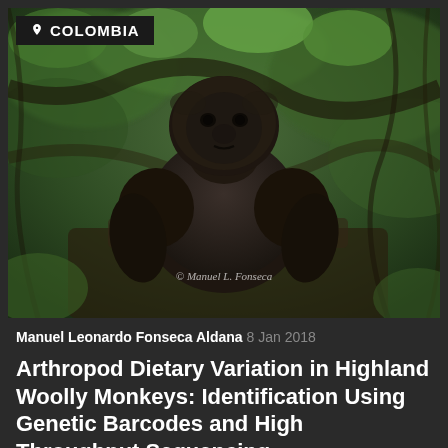[Figure (photo): A dark woolly monkey sitting in a tropical forest canopy in Colombia, surrounded by green foliage and branches. Photo credit: © Manuel L. Fonseca]
Manuel Leonardo Fonseca Aldana 8 Jan 2018
Arthropod Dietary Variation in Highland Woolly Monkeys: Identification Using Genetic Barcodes and High Throughput Sequencing